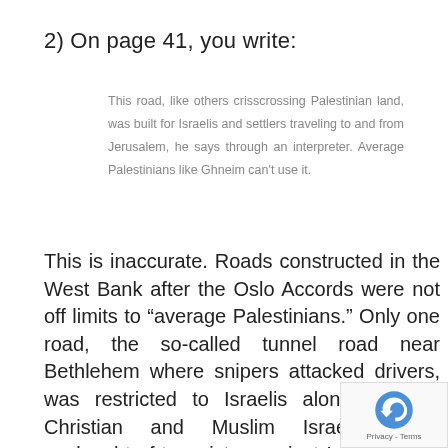2) On page 41, you write:
This road, like others crisscrossing Palestinian land, was built for Israelis and settlers traveling to and from Jerusalem, he says through an interpreter. Average Palestinians like Ghneim can't use it.
This is inaccurate. Roads constructed in the West Bank after the Oslo Accords were not off limits to “average Palestinians.” Only one road, the so-called tunnel road near Bethlehem where snipers attacked drivers, was restricted to Israelis alone (Jewish, Christian and Muslim Israelis). The onslaught of terrorist a against Israelis (also Jewish, Christian Muslim) eventually led to restrictions. Before